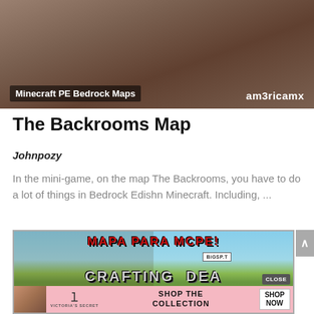[Figure (screenshot): Top portion of a dark brownish room photo (Backrooms map screenshot), with overlaid labels: 'Minecraft PE Bedrock Maps' on lower left and 'am3ricamx' on lower right]
The Backrooms Map
Johnpozy
In the mini-game, on the map The Backrooms, you have to do a lot of things in Bedrock Edishn Minecraft. Including, ...
[Figure (screenshot): Advertisement banner for 'MAPA PARA MCPE!' game 'CRAFTING DEAD' with Minecraft-style graphics, a BIGSP.T badge, a CLOSE button, and a Victoria's Secret SHOP THE COLLECTION / SHOP NOW sub-banner at the bottom.]